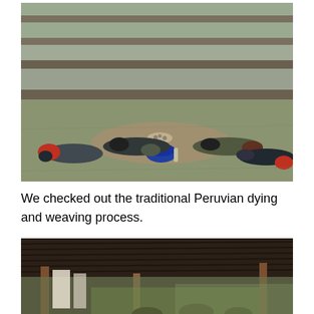[Figure (photo): People lying on the ground at an ancient terraced archaeological site, with stone terraces in the background. Several people are lying on a grass and dirt area around a small pile of stones and bags.]
We checked out the traditional Peruvian dying and weaving process.
[Figure (photo): Interior of a thatched-roof open-air structure, with wooden poles visible and people gathered underneath. Fabric or textiles appear to be hanging.]